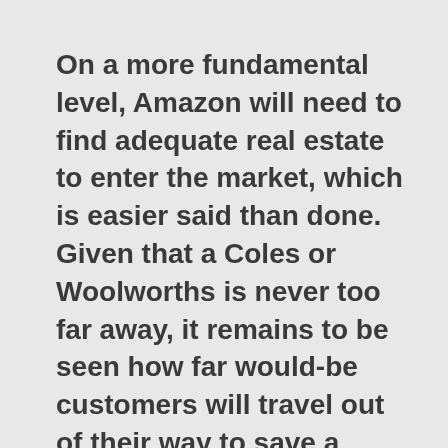On a more fundamental level, Amazon will need to find adequate real estate to enter the market, which is easier said than done. Given that a Coles or Woolworths is never too far away, it remains to be seen how far would-be customers will travel out of their way to save a couple of minutes shopping at an Amazon Go.
At the moment, we do not know how deeply Amazon will penetrate the Australian retail landscape, but we can assume that all of Amazon's technical "advances" will probably be offered at some time in the future. If history is anything to go by, we can expect Amazon to...